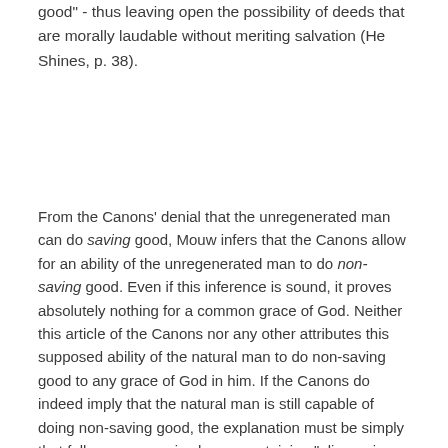good" - thus leaving open the possibility of deeds that are morally laudable without meriting salvation (He Shines, p. 38).
From the Canons' denial that the unregenerated man can do saving good, Mouw infers that the Canons allow for an ability of the unregenerated man to do non-saving good. Even if this inference is sound, it proves absolutely nothing for a common grace of God. Neither this article of the Canons nor any other attributes this supposed ability of the natural man to do non-saving good to any grace of God in him. If the Canons do indeed imply that the natural man is still capable of doing non-saving good, the explanation must be simply that fallen man remains human, retaining "glimmerings of natural light," as the next article will teach, by virtue of creation and providence. To introduce grace as the explanation is completely unwarranted both as regards the article itself and as regards the whole of the Canons. Creation and